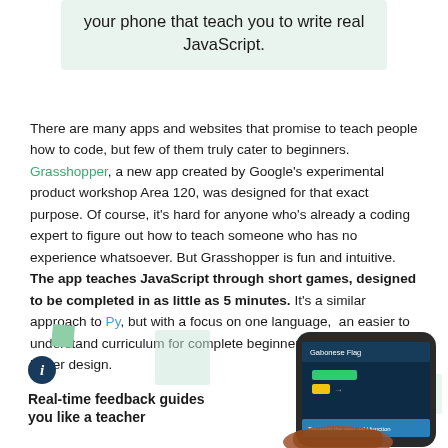[Figure (other): Light green box with text about phone apps that teach real JavaScript]
There are many apps and websites that promise to teach people how to code, but few of them truly cater to beginners. Grasshopper, a new app created by Google's experimental product workshop Area 120, was designed for that exact purpose. Of course, it's hard for anyone who's already a coding expert to figure out how to teach someone who has no experience whatsoever. But Grasshopper is fun and intuitive. The app teaches JavaScript through short games, designed to be completed in as little as 5 minutes. It's a similar approach to Py, but with a focus on one language,  an easier to understand curriculum for complete beginners, and a much better design.
[Figure (screenshot): Hand holding a smartphone showing the Grasshopper app with Gabonese Flag exercise and colorful code blocks on dark background]
Real-time feedback guides you like a teacher